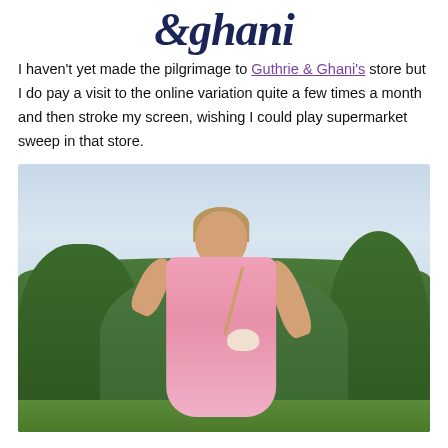&ghani
I haven't yet made the pilgrimage to Guthrie & Ghani's store but I do pay a visit to the online variation quite a few times a month and then stroke my screen, wishing I could play supermarket sweep in that store.
[Figure (photo): Woman in a pink dress with a small white crossbody bag standing outdoors with trees and overcast sky in the background]